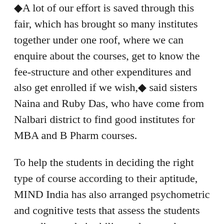◆A lot of our effort is saved through this fair, which has brought so many institutes together under one roof, where we can enquire about the courses, get to know the fee-structure and other expenditures and also get enrolled if we wish,◆ said sisters Naina and Ruby Das, who have come from Nalbari district to find good institutes for MBA and B Pharm courses.
To help the students in deciding the right type of course according to their aptitude, MIND India has also arranged psychometric and cognitive tests that assess the students according to their ability and strength.
◆The standardized tests that identify the strength and weaknesses of the students are being conducted here at highly subsidized rates. Most of the students are